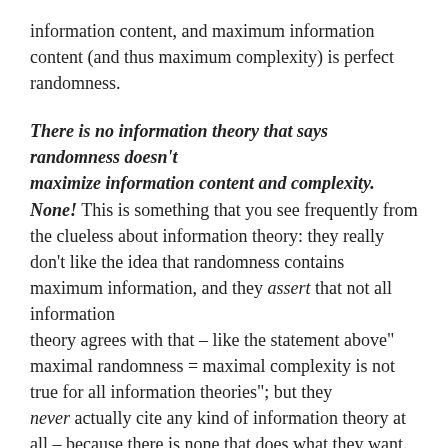information content, and maximum information content (and thus maximum complexity) is perfect randomness.
There is no information theory that says randomness doesn't maximize information content and complexity. None! This is something that you see frequently from the clueless about information theory: they really don't like the idea that randomness contains maximum information, and they assert that not all information theory agrees with that – like the statement above" maximal randomness = maximal complexity is not true for all information theories"; but they never actually cite any kind of information theory at all – because there is none that does what they want. They're sure that there must be, because K/C and Shannon seem wrong. But there is no such theory, no.